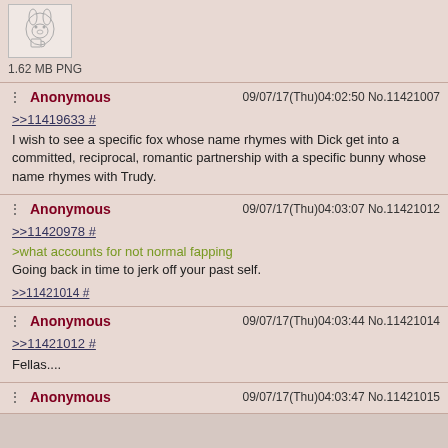[Figure (illustration): Cartoon illustration of an anthropomorphic animal character (rabbit/badger) holding a mug, pencil sketch style]
1.62 MB PNG
Anonymous 09/07/17(Thu)04:02:50 No.11421007
>>11419633 #
I wish to see a specific fox whose name rhymes with Dick get into a committed, reciprocal, romantic partnership with a specific bunny whose name rhymes with Trudy.
Anonymous 09/07/17(Thu)04:03:07 No.11421012
>>11420978 #
>what accounts for not normal fapping
Going back in time to jerk off your past self.
>>11421014 #
Anonymous 09/07/17(Thu)04:03:44 No.11421014
>>11421012 #
Fellas....
Anonymous 09/07/17(Thu)04:03:47 No.11421015